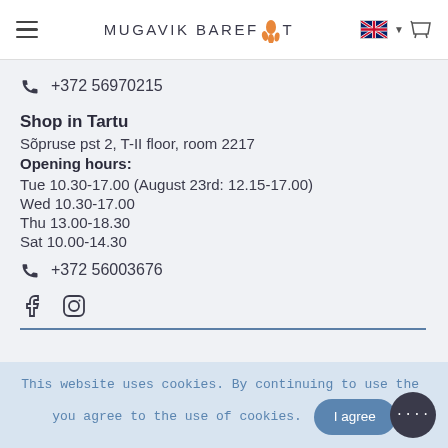MUGAVIK BAREFOOT
+372 56970215
Shop in Tartu
Sõpruse pst 2, T-II floor, room 2217
Opening hours:
Tue 10.30-17.00 (August 23rd: 12.15-17.00)
Wed 10.30-17.00
Thu 13.00-18.30
Sat 10.00-14.30
+372 56003676
[Figure (other): Facebook and Instagram social media icons]
This website uses cookies. By continuing to use the site, you agree to the use of cookies.